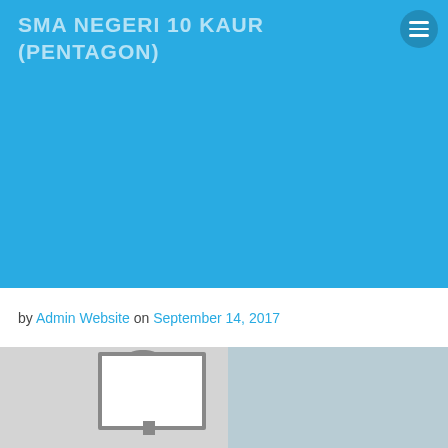SMA NEGERI 10 KAUR (PENTAGON)
[Figure (other): Blue banner/hero image area]
by Admin Website on September 14, 2017
[Figure (photo): Classroom photo showing computer monitors and a projection screen on the wall]